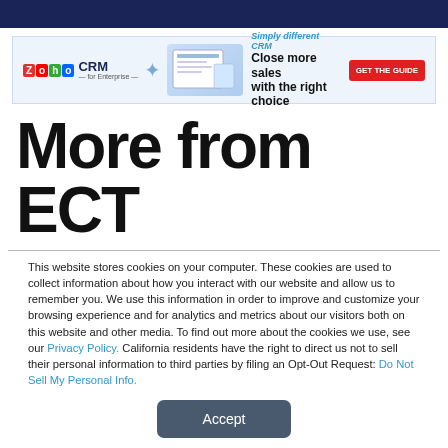[Figure (other): Zoho CRM for Enterprise advertisement banner: 'Simply different CRM – Close more sales with the right choice' with GET THE GUIDE button]
More from ECT
This website stores cookies on your computer. These cookies are used to collect information about how you interact with our website and allow us to remember you. We use this information in order to improve and customize your browsing experience and for analytics and metrics about our visitors both on this website and other media. To find out more about the cookies we use, see our Privacy Policy. California residents have the right to direct us not to sell their personal information to third parties by filing an Opt-Out Request: Do Not Sell My Personal Info.